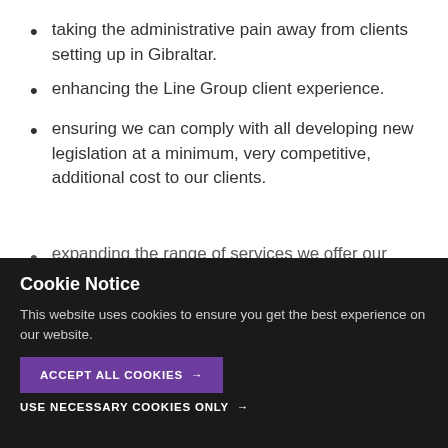taking the administrative pain away from clients setting up in Gibraltar.
enhancing the Line Group client experience.
ensuring we can comply with all developing new legislation at a minimum, very competitive, additional cost to our clients.
expanding the range of services we offer our clients
[Figure (screenshot): Cookie notice popup overlay with dark background, showing 'Cookie Notice' heading, message about cookies, 'ACCEPT ALL COOKIES' button in purple, and 'USE NECESSARY COOKIES ONLY' text link. Behind the overlay is partially visible 'DorneyLine Group' watermark text and bottom text.]